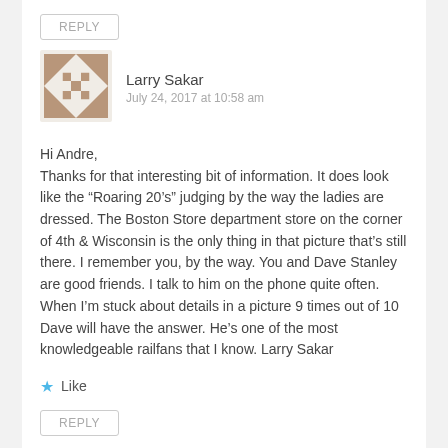REPLY
[Figure (illustration): Geometric quilt-pattern avatar for Larry Sakar, brown and white diagonal and square pattern]
Larry Sakar
July 24, 2017 at 10:58 am
Hi Andre,
Thanks for that interesting bit of information. It does look like the “Roaring 20’s” judging by the way the ladies are dressed. The Boston Store department store on the corner of 4th & Wisconsin is the only thing in that picture that’s still there. I remember you, by the way. You and Dave Stanley are good friends. I talk to him on the phone quite often. When I’m stuck about details in a picture 9 times out of 10 Dave will have the answer. He’s one of the most knowledgeable railfans that I know. Larry Sakar
Like
REPLY